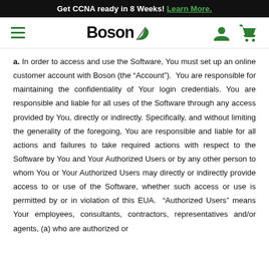Get CCNA ready in 8 Weeks! Learn More.
[Figure (logo): Boson logo with hamburger menu, user icon, and cart icon in navigation bar]
a. In order to access and use the Software, You must set up an online customer account with Boson (the “Account”). You are responsible for maintaining the confidentiality of Your login credentials. You are responsible and liable for all uses of the Software through any access provided by You, directly or indirectly. Specifically, and without limiting the generality of the foregoing, You are responsible and liable for all actions and failures to take required actions with respect to the Software by You and Your Authorized Users or by any other person to whom You or Your Authorized Users may directly or indirectly provide access to or use of the Software, whether such access or use is permitted by or in violation of this EUA. “Authorized Users” means Your employees, consultants, contractors, representatives and/or agents, (a) who are authorized or